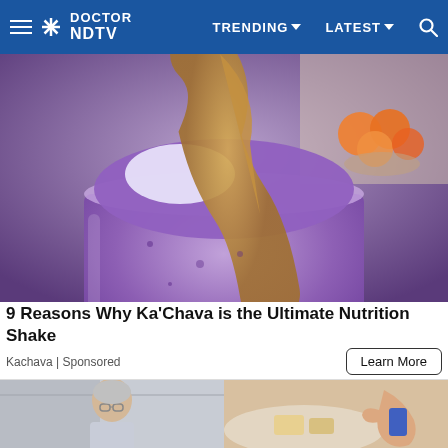Doctor NDTV — TRENDING | LATEST | Search
[Figure (photo): Close-up of a purple Ka'Chava nutrition shake in a glass jar with peanut butter drizzled on top and oranges in the background]
9 Reasons Why Ka'Chava is the Ultimate Nutrition Shake
Kachava | Sponsored
Learn More
[Figure (photo): Elderly man with glasses (left half) and a hand holding food (right half) — two cropped ad images side by side]